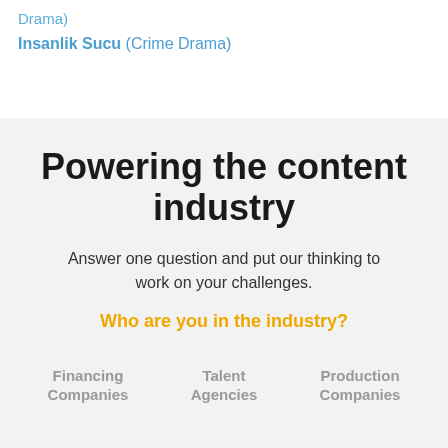Drama)
Insanlik Sucu (Crime Drama)
Powering the content industry
Answer one question and put our thinking to work on your challenges.
Who are you in the industry?
Financing Companies
Talent Agencies
Production Companies